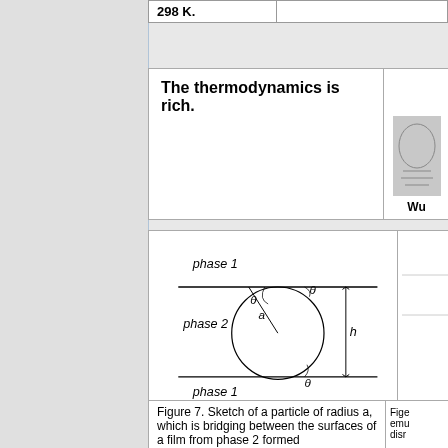| 298 K. |  |
The thermodynamics is rich.
Wu
[Figure (illustration): Sketch of a spherical particle at an interface between phase 1 (top and bottom) and phase 2 (middle). The sphere has radius a, with contact angles theta marked at the three-phase contact lines, and height h marked on the right side.]
Wu and Dai, Langmuir, 23, 4324 – 4331, 2007.
Wu
Figure 7. Sketch of a particle of radius a, which is bridging between the surfaces of a film from phase 2 formed